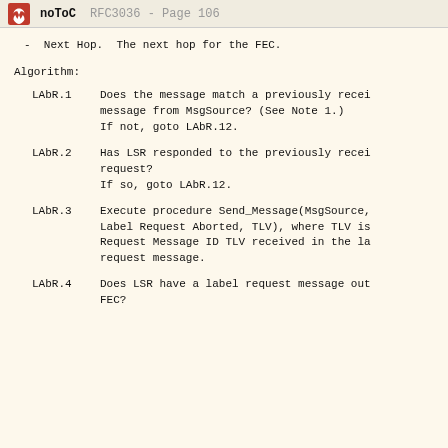noToC    RFC3036 - Page 106
-   Next Hop.  The next hop for the FEC.
Algorithm:
LAbR.1  Does the message match a previously received message from MsgSource? (See Note 1.) If not, goto LAbR.12.
LAbR.2  Has LSR responded to the previously received request? If so, goto LAbR.12.
LAbR.3  Execute procedure Send_Message(MsgSource, Label Request Aborted, TLV), where TLV is Request Message ID TLV received in the label request message.
LAbR.4  Does LSR have a label request message out FEC?